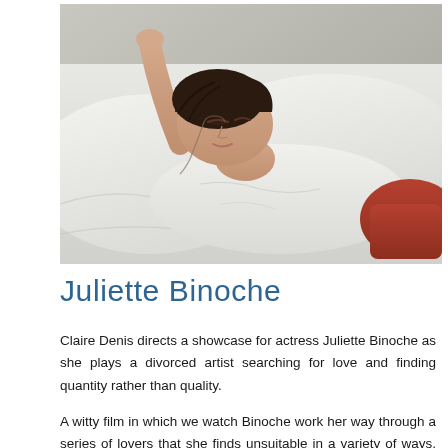[Figure (photo): A woman with short dark hair lying on white bedding/pillows, wearing a white loose shirt and rust-red shorts, with one arm raised above her head, eyes partially closed, looking relaxed.]
Juliette Binoche
Claire Denis directs a showcase for actress Juliette Binoche as she plays a divorced artist searching for love and finding quantity rather than quality.
A witty film in which we watch Binoche work her way through a series of lovers that she finds unsuitable in a variety of ways, all the while declaring her love life to be over. The film is a fun examination of how we are often our own worst enemies and rarely know what we